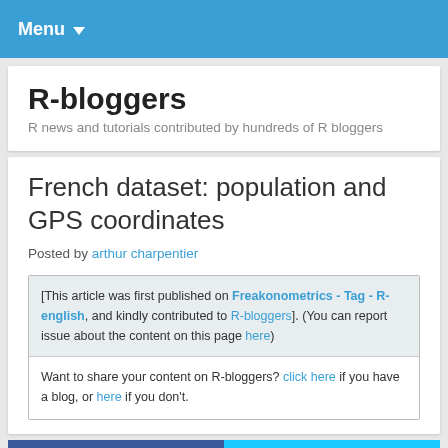Menu
R-bloggers
R news and tutorials contributed by hundreds of R bloggers
French dataset: population and GPS coordinates
Posted by arthur charpentier
[This article was first published on Freakonometrics - Tag - R-english, and kindly contributed to R-bloggers]. (You can report issue about the content on this page here)
Want to share your content on R-bloggers? click here if you have a blog, or here if you don't.
[Figure (other): Facebook and Twitter social share buttons]